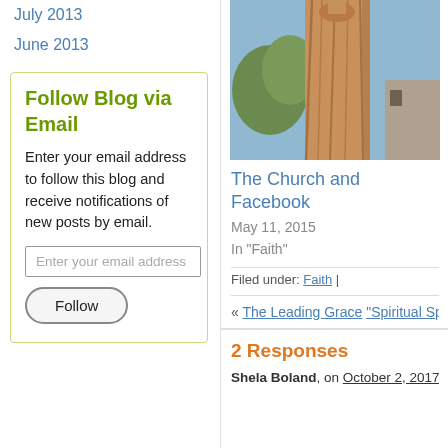July 2013
June 2013
Follow Blog via Email
Enter your email address to follow this blog and receive notifications of new posts by email.
[Figure (photo): Partial view of a tall stone or terracotta sculptural column/statue with a tree in the background against a blue sky]
The Church and Facebook
May 11, 2015
In "Faith"
Filed under: Faith |
« The Leading Grace "Spiritual Sponta…
2 Responses
Shela Boland, on October 2, 2017 at 9:00…